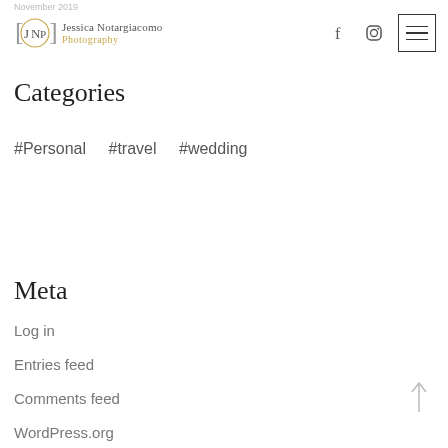Jessica Notargiacomo Photography — navigation header with logo, facebook icon, instagram icon, hamburger menu
Categories
#Personal  #travel  #wedding
Meta
Log in
Entries feed
Comments feed
WordPress.org